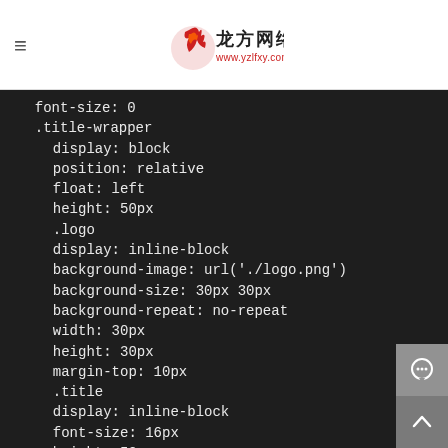龙方网络 www.yzlfxy.com
font-size: 0
.title-wrapper
  display: block
  position: relative
  float: left
  height: 50px
  .logo
  display: inline-block
  background-image: url('./logo.png')
  background-size: 30px 30px
  background-repeat: no-repeat
  width: 30px
  height: 30px
  margin-top: 10px
  .title
  display: inline-block
  font-size: 16px
  height: 50px
  line-height: 50px
  margin: 0px auto 0px 16px